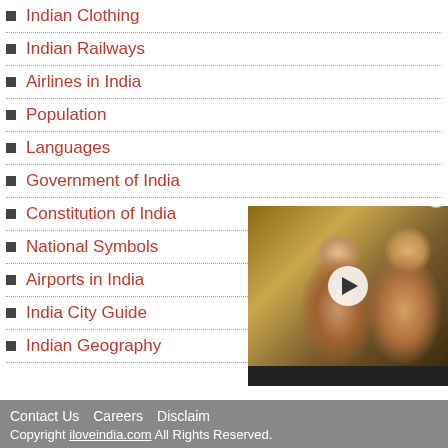Indian Clothing
Indian Railways
Airlines in India
Population
Languages
Government of India
Constitution of India
National Symbols
Airports in India
India City Guide
Indian Geography
[Figure (photo): Video overlay showing two people (a woman and a man with pink sunglasses) with a play button, partially obscuring the list]
Contact Us   Careers   Disclaim...
Copyright iloveindia.com All Rights Reserved.